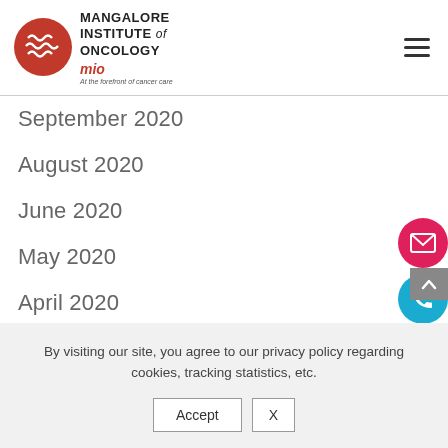[Figure (logo): Mangalore Institute of Oncology logo with red circular emblem and text]
September 2020
August 2020
June 2020
May 2020
April 2020
March 2020
By visiting our site, you agree to our privacy policy regarding cookies, tracking statistics, etc.